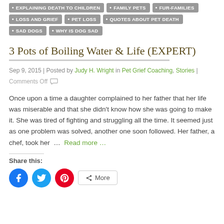EXPLAINING DEATH TO CHILDREN
FAMILY PETS
FUR-FAMILIES
LOSS AND GRIEF
PET LOSS
QUOTES ABOUT PET DEATH
SAD DOGS
WHY IS DOG SAD
3 Pots of Boiling Water & Life (EXPERT)
Sep 9, 2015 | Posted by Judy H. Wright in Pet Grief Coaching, Stories | Comments Off
Once upon a time a daughter complained to her father that her life was miserable and that she didn't know how she was going to make it. She was tired of fighting and struggling all the time. It seemed just as one problem was solved, another one soon followed. Her father, a chef, took her … Read more …
Share this: